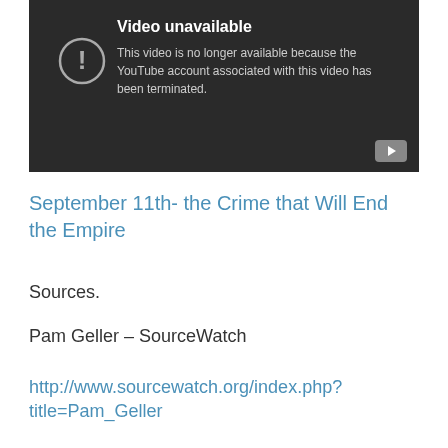[Figure (screenshot): YouTube video unavailable error screen. Dark background with 'Video unavailable' title and message: 'This video is no longer available because the YouTube account associated with this video has been terminated.' A circle with exclamation mark icon is shown on the left, and a YouTube play button icon is in the bottom right corner.]
September 11th- the Crime that Will End the Empire
Sources.
Pam Geller – SourceWatch
http://www.sourcewatch.org/index.php?title=Pam_Geller